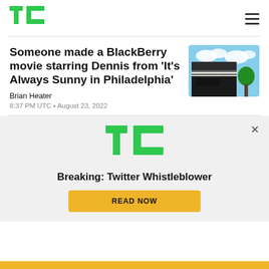TechCrunch logo and navigation
Someone made a BlackBerry movie starring Dennis from 'It's Always Sunny in Philadelphia'
[Figure (photo): Exterior of the BlackBerry corporate headquarters building with blue sky and clouds]
Brian Heater
8:37 PM UTC • August 23, 2022
[Figure (logo): TechCrunch TC logo in green]
Breaking: Twitter Whistleblower
READ NOW